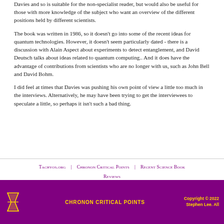Davies and so is suitable for the non-specialist reader, but would also be useful for those with more knowledge of the subject who want an overview of the different positions held by different scientists.
The book was written in 1986, so it doesn't go into some of the recent ideas for quantum technologies. However, it doesn't seem particularly dated - there is a discussion with Alain Aspect about experiments to detect entanglement, and David Deutsch talks about ideas related to quantum computing.. And it does have the advantage of contributions from scientists who are no longer with us, such as John Bell and David Bohm.
I did feel at times that Davies was pushing his own point of view a little too much in the interviews. Alternatively, he may have been trying to get the interviewees to speculate a little, so perhaps it isn't such a bad thing.
Tachyos.org | Chronon Critical Points | Recent Science Book Reviews
CHRONON CRITICAL POINTS | Copyright © 2022 Stephen Lee. All